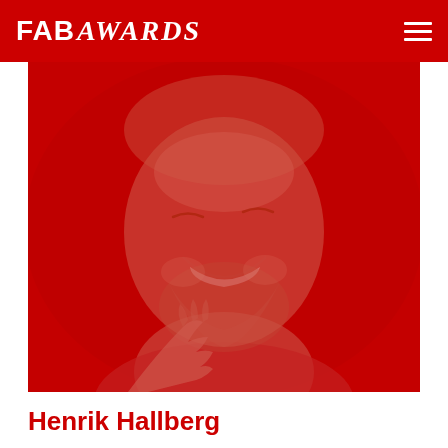FAB AWARDS
[Figure (photo): Red-tinted close-up portrait photo of Henrik Hallberg, a middle-aged man with a beard, smiling with eyes closed, resting his chin on his hand against a red background.]
Henrik Hallberg